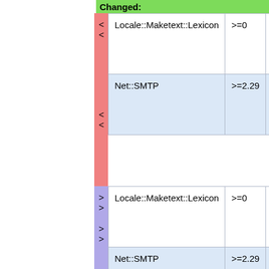Changed:
| Locale::Maketext::Lexicon | >=0 | Used for I18N support |
| Net::SMTP | >=2.29 | Used for sending mail |
| Locale::Maketext::Lexicon | >=0 | Used for I18N support |
| Net::SMTP | >=2.29 | Used for sending mail |